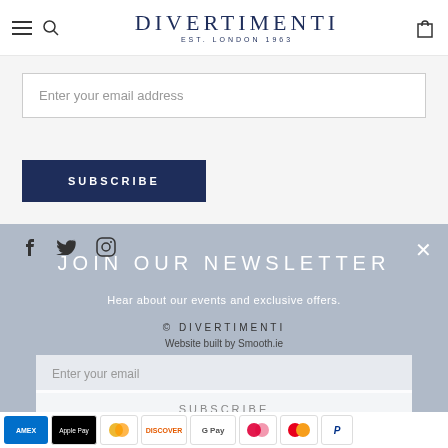DIVERTIMENTI EST. LONDON 1963
Enter your email address
SUBSCRIBE
JOIN OUR NEWSLETTER
Hear about our events and exclusive offers.
© DIVERTIMENTI
Website built by Smooth.ie
Enter your email
SUBSCRIBE